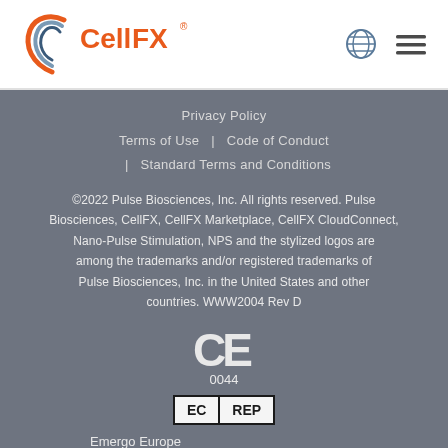[Figure (logo): CellFX logo with stylized circular swirl icon in orange/blue and CellFX text in orange with registered trademark symbol]
[Figure (logo): Globe icon and hamburger menu icon in top right header]
Privacy Policy
Terms of Use | Code of Conduct | Standard Terms and Conditions
©2022 Pulse Biosciences, Inc. All rights reserved. Pulse Biosciences, CellFX, CellFX Marketplace, CellFX CloudConnect, Nano-Pulse Stimulation, NPS and the stylized logos are among the trademarks and/or registered trademarks of Pulse Biosciences, Inc. in the United States and other countries. WWW2004 Rev D
[Figure (logo): CE mark with 0044 certification number]
[Figure (logo): EC REP box symbol indicating European Authorized Representative]
Emergo Europe B.V.
Prinsessegracht 20
2514 AP The Hague
The Netherlands